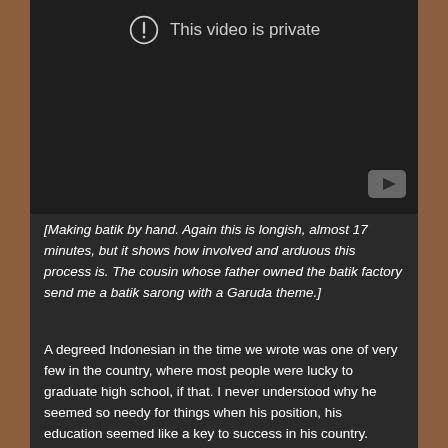[Figure (screenshot): A private YouTube video embed showing a dark background with an exclamation mark circle icon and the text 'This video is private', plus a YouTube logo watermark in the bottom right corner.]
[Making batik by hand. Again this is longish, almost 17 minutes, but it shows how involved and arduous this process is. The cousin whose father owned the batik factory send me a batik sarong with a Garuda theme.]
A degreed Indonesian in the time we wrote was one of very few in the country, where most people were lucky to graduate high school, if that. I never understood why he seemed so needy for things when his position, his education seemed like a key to success in his country. His manner history and less apt for most of it by b...